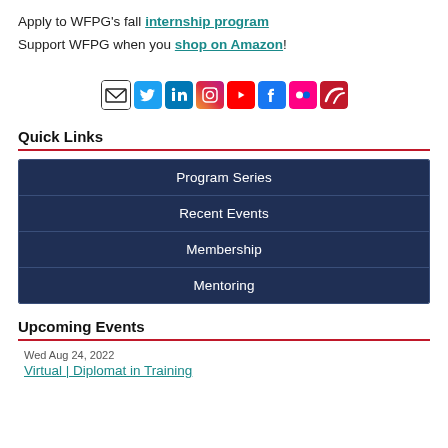Apply to WFPG's fall internship program
Support WFPG when you shop on Amazon!
[Figure (infographic): Row of social media icons: email, Twitter, LinkedIn, Instagram, YouTube, Facebook, Flickr, and a custom icon]
Quick Links
Program Series
Recent Events
Membership
Mentoring
Upcoming Events
Wed Aug 24, 2022
Virtual | Diplomat in Training